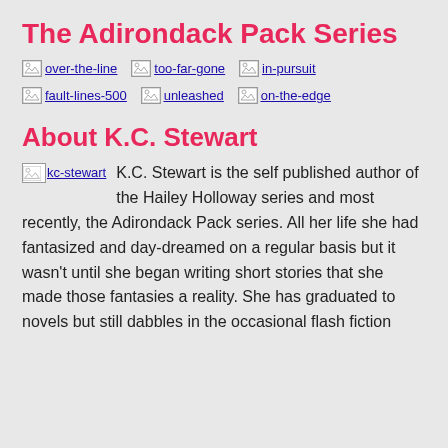The Adirondack Pack Series
[Figure (illustration): Three broken image placeholders labeled over-the-line, too-far-gone, in-pursuit]
[Figure (illustration): Three broken image placeholders labeled fault-lines-500, unleashed, on-the-edge]
About K.C. Stewart
[Figure (photo): Broken image placeholder labeled kc-stewart]
K.C. Stewart is the self published author of the Hailey Holloway series and most recently, the Adirondack Pack series. All her life she had fantasized and day-dreamed on a regular basis but it wasn't until she began writing short stories that she made those fantasies a reality. She has graduated to novels but still dabbles in the occasional flash fiction